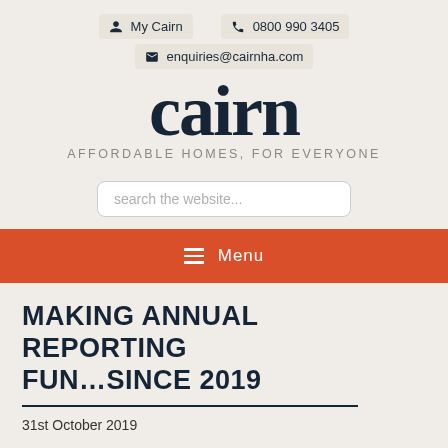My Cairn  0800 990 3405  enquiries@cairnha.com
[Figure (logo): Cairn logo — large lowercase 'cairn' text with tagline AFFORDABLE HOMES, FOR EVERYONE]
search the website...
≡  Menu
MAKING ANNUAL REPORTING FUN...SINCE 2019
31st October 2019